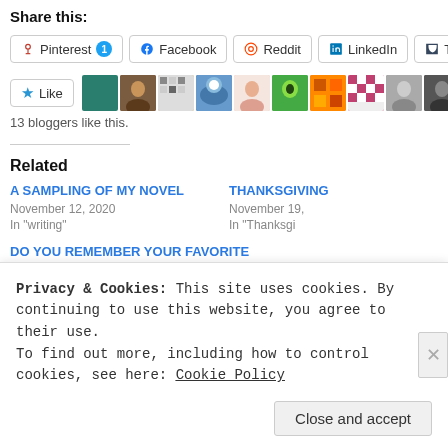Share this:
Pinterest 1 | Facebook | Reddit | LinkedIn | Tum
[Figure (other): Row of blogger avatar thumbnails (11 small square photos)]
13 bloggers like this.
Related
A SAMPLING OF MY NOVEL
November 12, 2020
In "writing"
THANKSGIVING
November 19,
In "Thanksgi
DO YOU REMEMBER YOUR FAVORITE
Privacy & Cookies: This site uses cookies. By continuing to use this website, you agree to their use.
To find out more, including how to control cookies, see here: Cookie Policy
Close and accept